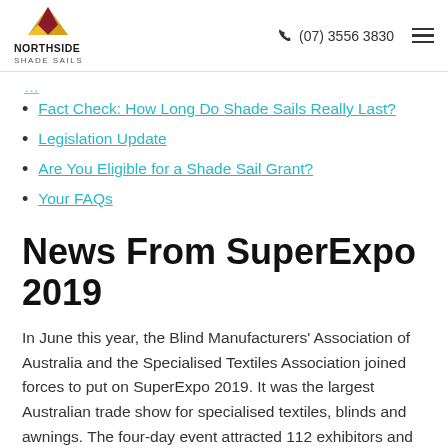Northside Shade Sails | (07) 3556 3830
Fact Check: How Long Do Shade Sails Really Last?
Legislation Update
Are You Eligible for a Shade Sail Grant?
Your FAQs
News From SuperExpo 2019
In June this year, the Blind Manufacturers' Association of Australia and the Specialised Textiles Association joined forces to put on SuperExpo 2019. It was the largest Australian trade show for specialised textiles, blinds and awnings. The four-day event attracted 112 exhibitors and nearly 4,000 visitors to the Gold Coast Convention and Exhibition Centre. The trade exhibition showcased a range